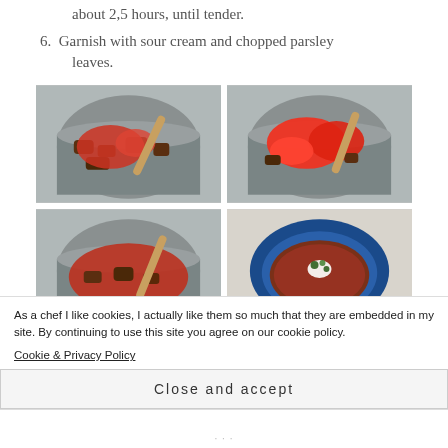about 2,5 hours, until tender.
6. Garnish with sour cream and chopped parsley leaves.
[Figure (photo): Four cooking photos arranged in a 2x2 grid: top-left shows a pot with tomatoes and meat with wooden spoon on stove; top-right shows same pot with more red tomatoes added; bottom-left shows the dish simmering with red sauce; bottom-right shows the finished dish served in a blue bowl garnished with sour cream and parsley.]
As a chef I like cookies, I actually like them so much that they are embedded in my site. By continuing to use this site you agree on our cookie policy.
Cookie & Privacy Policy
Close and accept
...